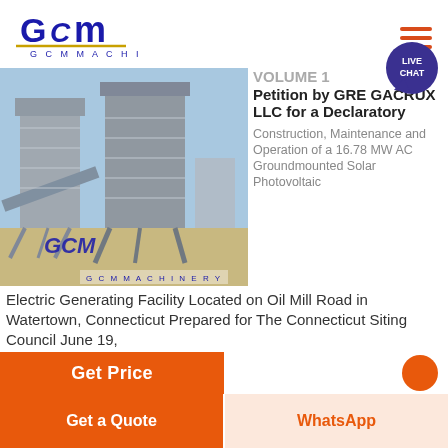[Figure (logo): GCM Machinery logo with blue text and gold underline]
[Figure (photo): Large industrial asphalt mixing plant / machinery facility with GCM branding]
VOLUME 1 Petition by GRE GACRUX LLC for a Declaratory
Construction, Maintenance and Operation of a 16.78 MW AC Groundmounted Solar Photovoltaic Electric Generating Facility Located on Oil Mill Road in Watertown, Connecticut Prepared for The Connecticut Siting Council June 19,
Get Price
Get a Quote
WhatsApp